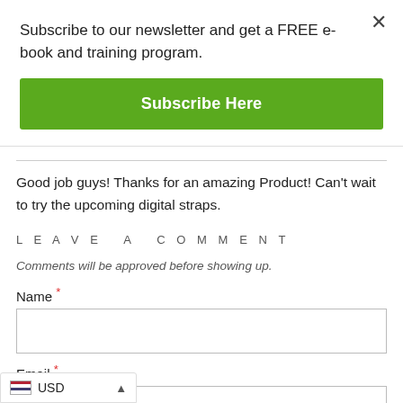Subscribe to our newsletter and get a FREE e-book and training program.
Subscribe Here
Good job guys! Thanks for an amazing Product! Can't wait to try the upcoming digital straps.
LEAVE A COMMENT
Comments will be approved before showing up.
Name *
Email *
USD